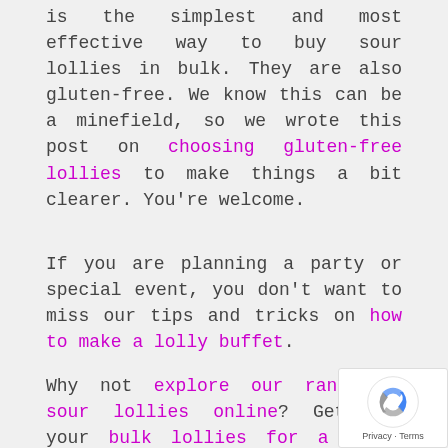is the simplest and most effective way to buy sour lollies in bulk. They are also gluten-free. We know this can be a minefield, so we wrote this post on choosing gluten-free lollies to make things a bit clearer. You're welcome.
If you are planning a party or special event, you don't want to miss our tips and tricks on how to make a lolly buffet.
Why not explore our range of sour lollies online? Get all your bulk lollies for a lolly buffet at wholesale prices here.
This article was reproduced on this site only with permission from